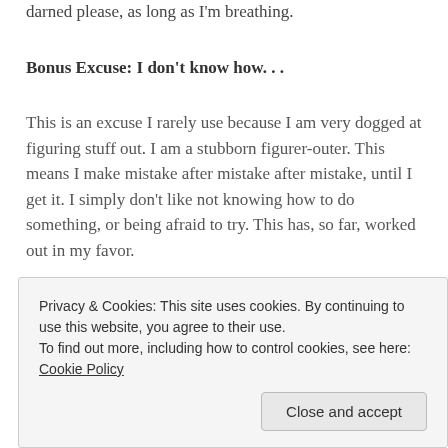darned please, as long as I'm breathing.
Bonus Excuse: I don't know how. . .
This is an excuse I rarely use because I am very dogged at figuring stuff out. I am a stubborn figurer-outer. This means I make mistake after mistake after mistake, until I get it. I simply don't like not knowing how to do something, or being afraid to try. This has, so far, worked out in my favor.
[Figure (photo): Partial photo showing a light-colored wall/ceiling area on the left and a dark wooden surface on the right, cropped at bottom of visible area]
Privacy & Cookies: This site uses cookies. By continuing to use this website, you agree to their use.
To find out more, including how to control cookies, see here: Cookie Policy
Close and accept